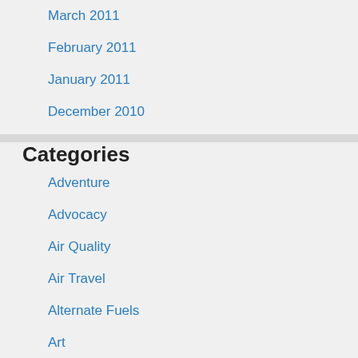March 2011
February 2011
January 2011
December 2010
Categories
Adventure
Advocacy
Air Quality
Air Travel
Alternate Fuels
Art
Autonomous Vehicles
B…